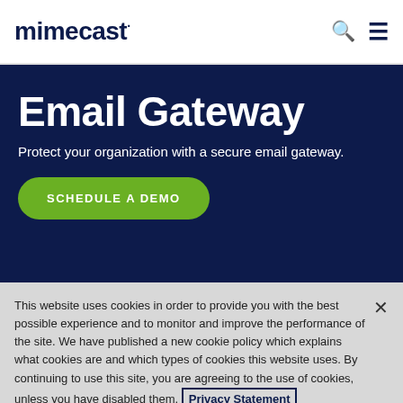mimecast
Email Gateway
Protect your organization with a secure email gateway.
SCHEDULE A DEMO
This website uses cookies in order to provide you with the best possible experience and to monitor and improve the performance of the site. We have published a new cookie policy which explains what cookies are and which types of cookies this website uses. By continuing to use this site, you are agreeing to the use of cookies, unless you have disabled them. Privacy Statement